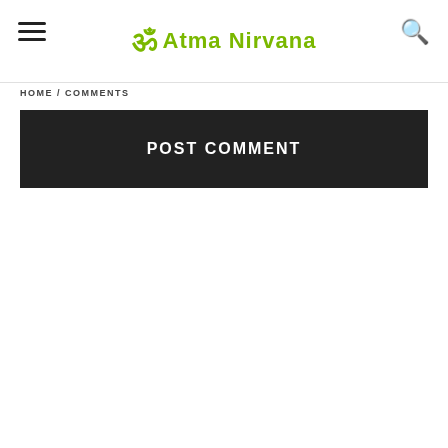ॐ Atma Nirvana
HOME / COMMENTS
POST COMMENT